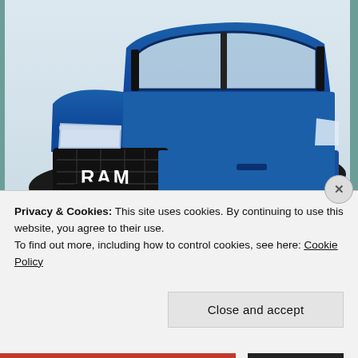[Figure (photo): Front view of a blue RAM pickup truck with black grille, large off-road tires, and winch on bumper. Playback controls and progress bar visible at bottom of image area.]
Conquer the Workplace with Ram Trucks
sponsored by Hearing Aid Advice
Privacy & Cookies: This site uses cookies. By continuing to use this website, you agree to their use.
To find out more, including how to control cookies, see here: Cookie Policy
Close and accept